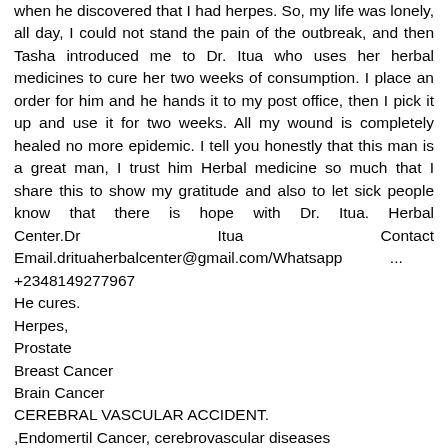when he discovered that I had herpes. So, my life was lonely, all day, I could not stand the pain of the outbreak, and then Tasha introduced me to Dr. Itua who uses her herbal medicines to cure her two weeks of consumption. I place an order for him and he hands it to my post office, then I pick it up and use it for two weeks. All my wound is completely healed no more epidemic. I tell you honestly that this man is a great man, I trust him Herbal medicine so much that I share this to show my gratitude and also to let sick people know that there is hope with Dr. Itua. Herbal Center.Dr                    Itua                    Contact Email.drituaherbalcenter@gmail.com/Whatsapp          ... +2348149277967
He cures.
Herpes,
Prostate
Breast Cancer
Brain Cancer
CEREBRAL VASCULAR ACCIDENT.
,Endomertil Cancer, cerebrovascular diseases
Hepatitis,Glaucoma.,                              Cataracts,Macular degeneration,Cardiovascular                              disease,Lung